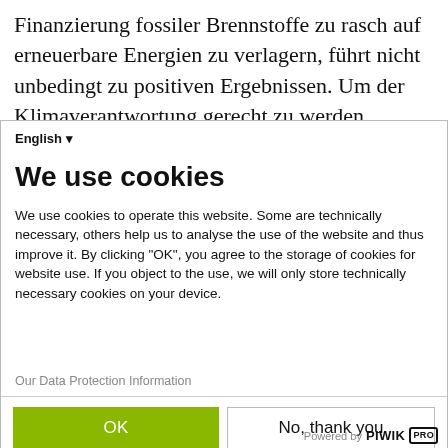Finanzierung fossiler Brennstoffe zu rasch auf erneuerbare Energien zu verlagern, führt nicht unbedingt zu positiven Ergebnissen. Um der Klimaverantwortung gerecht zu werden, müssen auch soziale Aspekte wie Lebensunterhalt,
English ▾
We use cookies
We use cookies to operate this website. Some are technically necessary, others help us to analyse the use of the website and thus improve it. By clicking "OK", you agree to the storage of cookies for website use. If you object to the use, we will only store technically necessary cookies on your device.
Our Data Protection Information
OK
No, thank you
Powered by PIWIK PRO